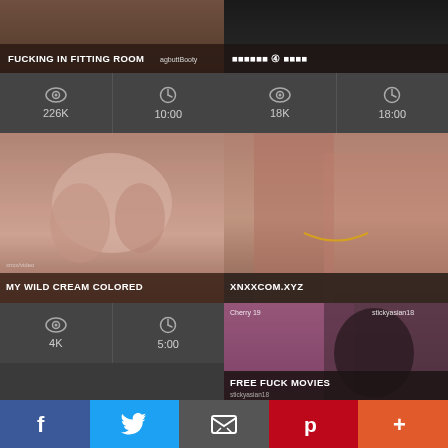[Figure (screenshot): Video thumbnail: Fucking in fitting room, 226K views, 10:00 duration]
[Figure (screenshot): Video thumbnail: Japanese title with circle-4, 18K views, 18:00 duration]
[Figure (screenshot): Video thumbnail: My Wild Cream Colored, 4K views, 5:00 duration]
[Figure (screenshot): Video thumbnail: XNXXCOM.XYZ]
[Figure (screenshot): Video thumbnail: Free Fuck Movies, stickyasian18, Cherry 19]